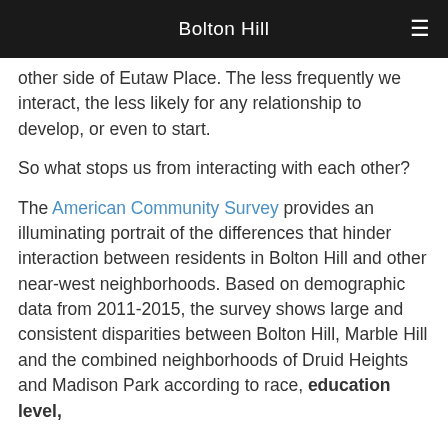Bolton Hill
other side of Eutaw Place. The less frequently we interact, the less likely for any relationship to develop, or even to start.
So what stops us from interacting with each other?
The American Community Survey provides an illuminating portrait of the differences that hinder interaction between residents in Bolton Hill and other near-west neighborhoods. Based on demographic data from 2011-2015, the survey shows large and consistent disparities between Bolton Hill, Marble Hill and the combined neighborhoods of Druid Heights and Madison Park according to race, education level,